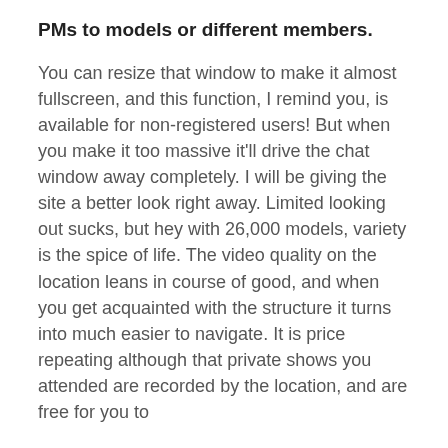PMs to models or different members.
You can resize that window to make it almost fullscreen, and this function, I remind you, is available for non-registered users! But when you make it too massive it'll drive the chat window away completely. I will be giving the site a better look right away. Limited looking out sucks, but hey with 26,000 models, variety is the spice of life. The video quality on the location leans in course of good, and when you get acquainted with the structure it turns into much easier to navigate. It is price repeating although that private shows you attended are recorded by the location, and are free for you to